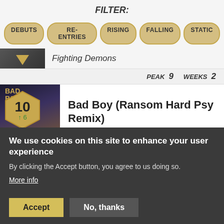FILTER:
DEBUTS
RE-ENTRIES
RISING
FALLING
STATIC
Fighting Demons
PEAK 9 WEEKS 2
Bad Boy (Ransom Hard Psy Remix)
Jebroer & Eva Simons
10 ↑6
PEAK 10 WEEKS 2
Wonderful Dream
We use cookies on this site to enhance your user experience
By clicking the Accept button, you agree to us doing so.
More info
Accept
No, thanks